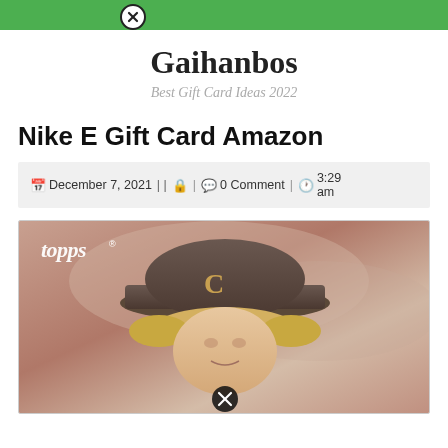[Navigation bar with close button]
Gaihanbos
Best Gift Card Ideas 2022
Nike E Gift Card Amazon
December 7, 2021 || [user icon] | [comment icon] 0 Comment | [clock icon] 3:29 am
[Figure (photo): A Topps baseball card showing a baseball player wearing a Cleveland Indians (C) cap, with blonde hair, against a reddish-brown background. A close/remove button overlay is shown at the bottom center.]